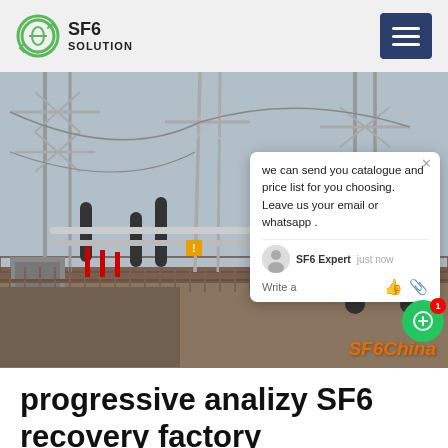SF6 SOLUTION
[Figure (photo): Photograph of an electrical substation with high-voltage transmission towers, equipment, insulators, and transformers. A yellow vehicle is visible on the right. A chat popup overlay is shown with message: 'we can send you catalogue and price list for you choosing. Leave us your email or whatsapp.' SF6 Expert, just now. Write a. SF6China watermark in bottom right.]
progressive analizy SF6 recovery factory
Nov 13, 2017106. Specjalistyczny magazyn